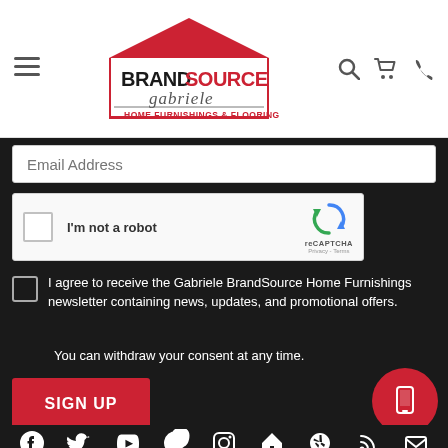[Figure (logo): BrandSource Gabriele Home Furnishings & Flooring logo with red house shape]
Email Address
[Figure (screenshot): reCAPTCHA widget with checkbox labeled 'I'm not a robot']
I agree to receive the Gabriele BrandSource Home Furnishings newsletter containing news, updates, and promotional offers.
You can withdraw your consent at any time.
SIGN UP
[Figure (infographic): Social media icons row: Facebook, Twitter, YouTube, Pinterest, Instagram, and more]